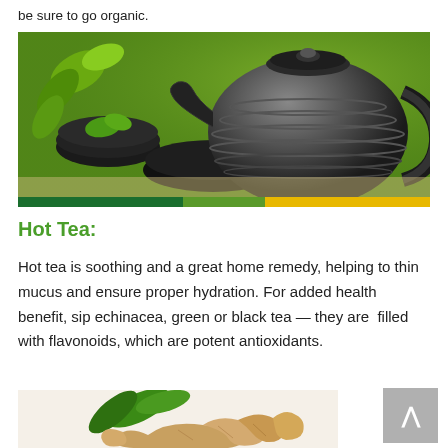be sure to go organic.
[Figure (photo): A black cast iron teapot with matching black bowls containing green tea leaves and mint on a green background]
Hot Tea:
Hot tea is soothing and a great home remedy, helping to thin mucus and ensure proper hydration. For added health benefit, sip echinacea, green or black tea — they are  filled with flavonoids, which are potent antioxidants.
[Figure (photo): Ginger root with green leaves on white background]